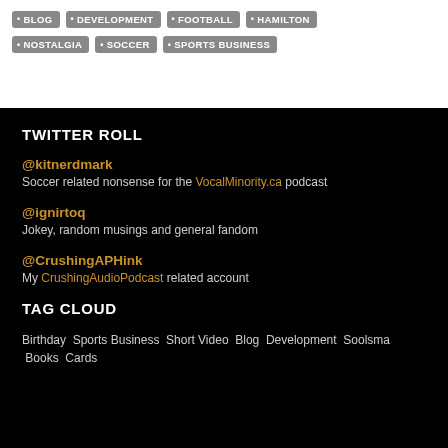BLOG
DEVELOPMENT
FOOTBALL
HAMILTON
NOSTALGIA
SOCCER
SPORTS BUSINESS
TWITTER ROLL
@kitnerdmark
Soccer related nonsense for the VocalMinority.ca podcast
@ignirtoq
Jokey, random musings and general fandom
@CrushingAPHink
My CrushingAudioPodcast related account
TAG CLOUD
Birthday Sports Business Short Video Blog Development Soolsma Books Cards